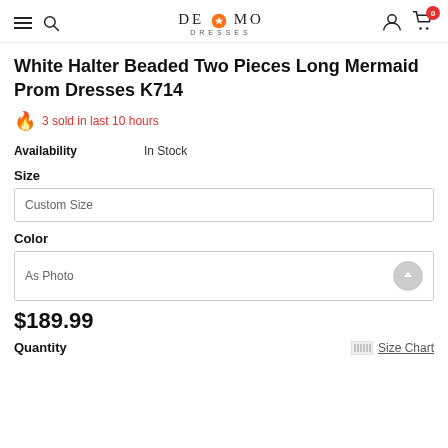DE MO DRESSES — navigation header with hamburger, search, logo, user icon, cart (0)
White Halter Beaded Two Pieces Long Mermaid Prom Dresses K714
🔥 3 sold in last 10 hours
Availability  In Stock
Size
Custom Size
Color
As Photo
$189.99
Quantity   Size Chart